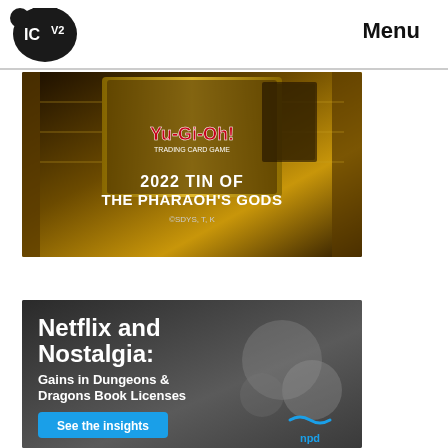[Figure (logo): ICV2 logo - black speech bubble with ICV2 text]
Menu
[Figure (photo): Yu-Gi-Oh! Trading Card Game advertisement: 2022 Tin of the Pharaoh's Gods. Shows golden Egyptian-themed tin with Yu-Gi-Oh! branding. Text reads: '2022 TIN OF THE PHARAOH'S GODS ©SDYS, T, K']
[Figure (photo): NPD advertisement with dark background showing dice. Text: 'Netflix and Nostalgia: Gains in Dungeons & Dragons Book Licenses'. Blue button: 'See the insights'. NPD logo in lower right.]